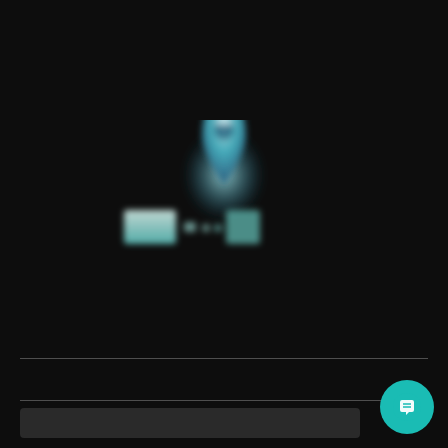[Figure (logo): A blurred company logo centered on a dark background. The logo features a teal/blue upward arrow or pin icon above stylized text in teal and light/white colors, resembling Arabic or mixed script branding.]
[Figure (other): A horizontal divider line near the bottom of the page separating the logo area from a footer area.]
[Figure (other): A dark search/input bar in the bottom footer area, with a teal circular chat/message button icon in the bottom-right corner.]